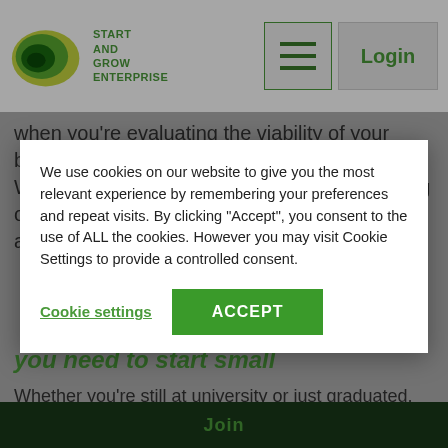START AND GROW ENTERPRISE
when you're evaluating the viability of your business idea and writing a business plan. Whether it's gathering insights online, checking out the competition in person, reading reports and
We use cookies on our website to give you the most relevant experience by remembering your preferences and repeat visits. By clicking “Accept”, you consent to the use of ALL the cookies. However you may visit Cookie Settings to provide a controlled consent.
Cookie settings   ACCEPT
you need to start small
Whether you’re still at university or just graduated, it’s unlikely that you’ll have an abundance of money to invest into your business idea. That’s fine. If
Join